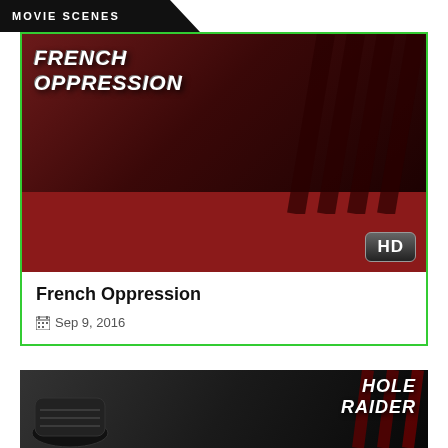MOVIE SCENES
[Figure (photo): Movie scene thumbnail for French Oppression showing two wrestlers on a red mat, with HD badge in corner]
French Oppression
Sep 9, 2016
[Figure (photo): Movie scene thumbnail for Hole Raider showing a wrestler bent over with a boot sole visible]